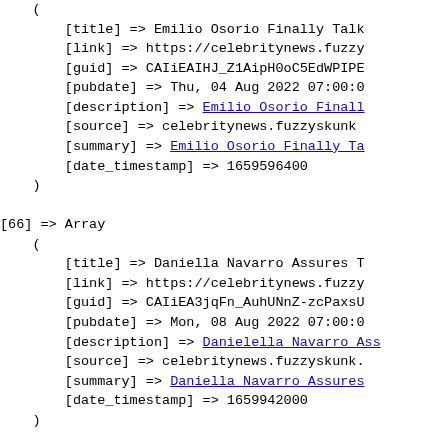( [title] => Emilio Osorio Finally Talk [link] => https://celebritynews.fuzzy [guid] => CAIiEAIHJ_Z1AipH0oC5EdWPIPE [pubdate] => Thu, 04 Aug 2022 07:00:0 [description] => Emilio Osorio Final [source] => celebritynews.fuzzyskunk [summary] => Emilio Osorio Finally Ta [date_timestamp] => 1659596400 )
[66] => Array ( [title] => Daniella Navarro Assures T [link] => https://celebritynews.fuzzy [guid] => CAIiEA3jqFn_AuhUNnZ-zcPaxsU [pubdate] => Mon, 08 Aug 2022 07:00:0 [description] => Danielella Navarro Ass [source] => celebritynews.fuzzyskunk [summary] => Daniella Navarro Assures [date_timestamp] => 1659942000 )
[67] => Array ( [title] => Actress Anne Heche, In Cr [link] => https://celebritynews.fuzzy [guid] => CBMiYGh0dHBzOi8vY2VsZWJyaXR [pubdate] => Sat, 06 Aug 2022 07:00:0 [description] => Actress Anne Heche,